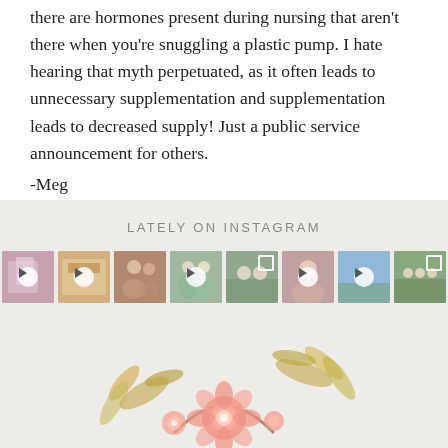there are hormones present during nursing that aren't there when you're snuggling a plastic pump. I hate hearing that myth perpetuated, as it often leads to unnecessary supplementation and supplementation leads to decreased supply! Just a public service announcement for others.
-Meg
LATELY ON INSTAGRAM
[Figure (photo): A row of 8 Instagram thumbnail images showing family/children photos, some with video play buttons overlaid]
[Figure (illustration): Watercolor floral decoration with pink roses and autumn leaves at the bottom of the page]